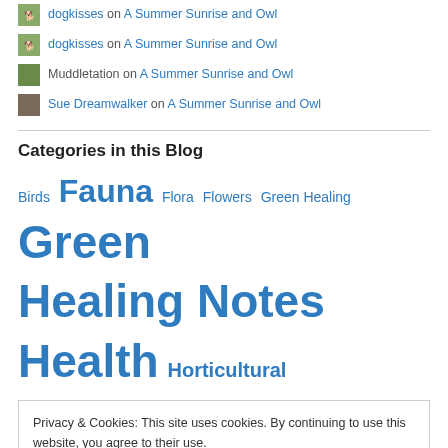dogkisses on A Summer Sunrise and Owl
dogkisses on A Summer Sunrise and Owl
Muddletation on A Summer Sunrise and Owl
Sue Dreamwalker on A Summer Sunrise and Owl
Categories in this Blog
Birds Fauna Flora Flowers Green Healing Green Healing Notes Health Horticultural
Privacy & Cookies: This site uses cookies. By continuing to use this website, you agree to their use. To find out more, including how to control cookies, see here: Cookie Policy
Close and accept